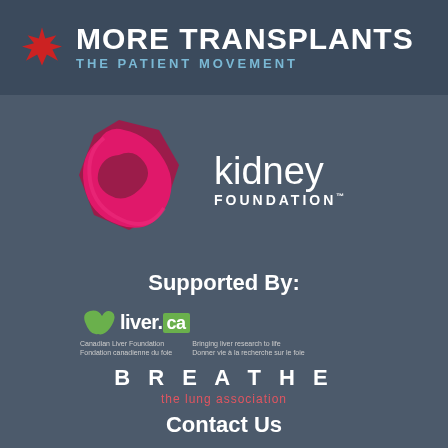[Figure (logo): More Transplants - The Patient Movement logo with Canadian maple leaf and text on dark blue-grey background]
[Figure (logo): Kidney Foundation logo with pink/magenta geometric kidney shape icon and 'kidney FOUNDATION' text in white]
Supported By:
[Figure (logo): liver.ca - Canadian Liver Foundation / Fondation canadienne du foie logo with liver shape icon. Tagline: Bringing liver research to life / Donner vie à la recherche sur le foie]
[Figure (logo): BREATHE the lung association logo in white and red]
Contact Us